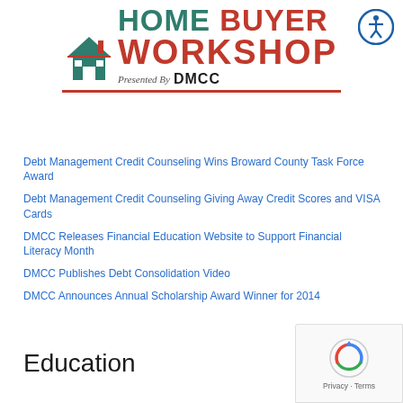[Figure (logo): Home Buyer Workshop Presented By DMCC logo with house icon and red underline]
[Figure (illustration): Accessibility icon — blue circle with white stick figure]
Debt Management Credit Counseling Wins Broward County Task Force Award
Debt Management Credit Counseling Giving Away Credit Scores and VISA Cards
DMCC Releases Financial Education Website to Support Financial Literacy Month
DMCC Publishes Debt Consolidation Video
DMCC Announces Annual Scholarship Award Winner for 2014
Education
[Figure (other): reCAPTCHA Privacy Terms widget overlay in bottom right corner]